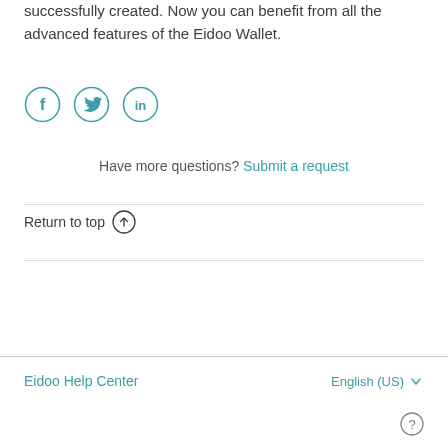successfully created. Now you can benefit from all the advanced features of the Eidoo Wallet.
[Figure (illustration): Three circular social media icons: Facebook (f), Twitter (bird), LinkedIn (in), outlined in teal color]
Have more questions? Submit a request
Return to top ↑
Eidoo Help Center    English (US) ▾